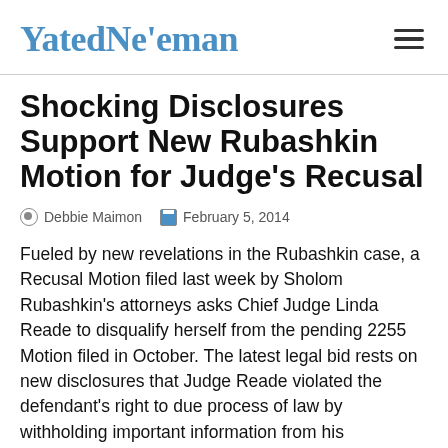YatedNe'eman
Shocking Disclosures Support New Rubashkin Motion for Judge's Recusal
Debbie Maimon   February 5, 2014
Fueled by new revelations in the Rubashkin case, a Recusal Motion filed last week by Sholom Rubashkin's attorneys asks Chief Judge Linda Reade to disqualify herself from the pending 2255 Motion filed in October. The latest legal bid rests on new disclosures that Judge Reade violated the defendant's right to due process of law by withholding important information from his